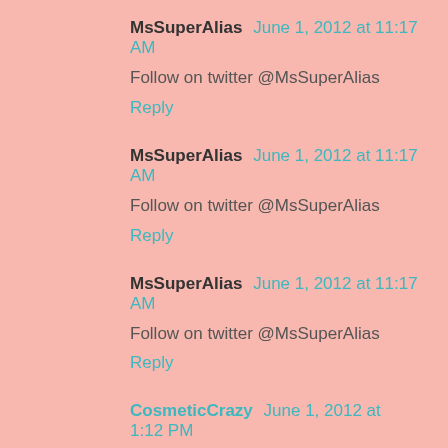MsSuperAlias June 1, 2012 at 11:17 AM
Follow on twitter @MsSuperAlias
Reply
MsSuperAlias June 1, 2012 at 11:17 AM
Follow on twitter @MsSuperAlias
Reply
MsSuperAlias June 1, 2012 at 11:17 AM
Follow on twitter @MsSuperAlias
Reply
CosmeticCrazy June 1, 2012 at 1:12 PM
The Je Ne Sais Quoi looked VERY interesting and the blushes for sure.